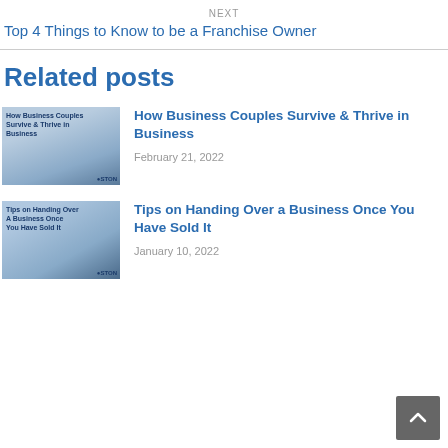NEXT
Top 4 Things to Know to be a Franchise Owner
Related posts
[Figure (photo): Thumbnail image: How Business Couples Survive & Thrive in Business - two people at a desk, man and woman, with overlay text]
How Business Couples Survive & Thrive in Business
February 21, 2022
[Figure (photo): Thumbnail image: Tips on Handing Over a Business Once You Have Sold It - two people shaking hands with overlay text]
Tips on Handing Over a Business Once You Have Sold It
January 10, 2022